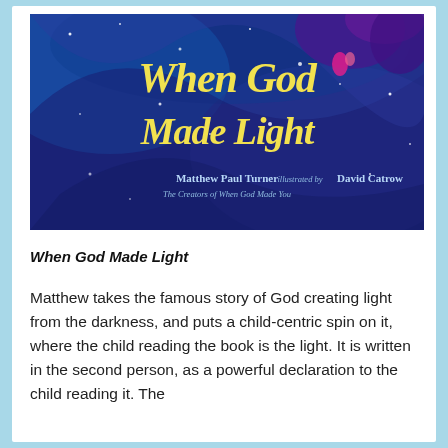[Figure (illustration): Book cover of 'When God Made Light' by Matthew Paul Turner, illustrated by David Catrow. Deep blue and purple swirling background with stars. Large yellow/gold italic stylized text reads 'When God Made Light'. Below the title: 'Matthew Paul Turner illustrated by David Catrow'. Subtitle: 'The Creators of When God Made You'.]
When God Made Light
Matthew takes the famous story of God creating light from the darkness, and puts a child-centric spin on it, where the child reading the book is the light. It is written in the second person, as a powerful declaration to the child reading it. The